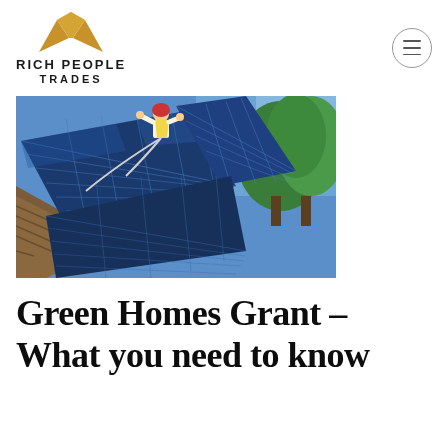[Figure (logo): Rich People Trades logo with a gold/orange geometric crown/mountain shape above the text 'RICH PEOPLE TRADES']
[Figure (photo): A worker installing blue solar panels on a residential roof with green trees in the background and blue sky]
Green Homes Grant – What you need to know